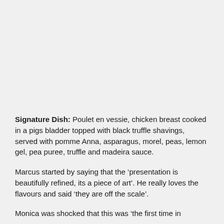Signature Dish: Poulet en vessie, chicken breast cooked in a pigs bladder topped with black truffle shavings, served with pomme Anna, asparagus, morel, peas, lemon gel, pea puree, truffle and madeira sauce.
Marcus started by saying that the ‘presentation is beautifully refined, its a piece of art’. He really loves the flavours and said ‘they are off the scale’.
Monica was shocked that this was ‘the first time in